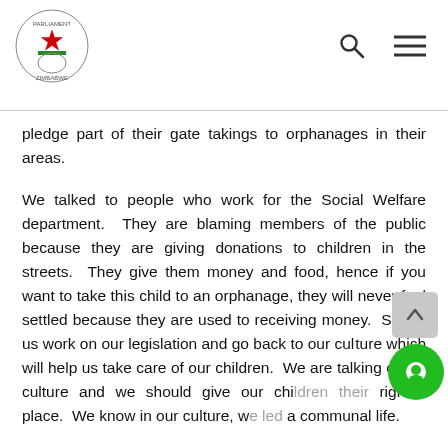Parliament of Zimbabwe header with logo, search icon, and menu icon
pledge part of their gate takings to orphanages in their areas.
We talked to people who work for the Social Welfare department.  They are blaming members of the public because they are giving donations to children in the streets.  They give them money and food, hence if you want to take this child to an orphanage, they will never feel settled because they are used to receiving money.  So, let us work on our legislation and go back to our culture which will help us take care of our children.  We are talking of our culture and we should give our children their rightful place.  We know in our culture, we led a communal life.